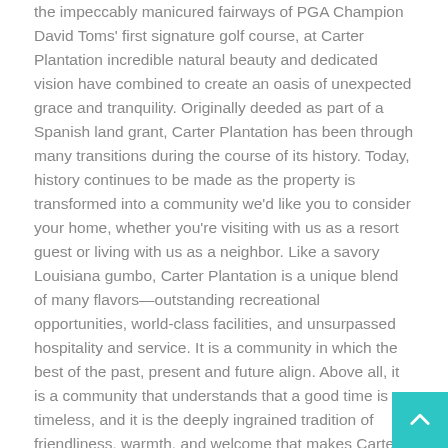the impeccably manicured fairways of PGA Champion David Toms' first signature golf course, at Carter Plantation incredible natural beauty and dedicated vision have combined to create an oasis of unexpected grace and tranquility. Originally deeded as part of a Spanish land grant, Carter Plantation has been through many transitions during the course of its history. Today, history continues to be made as the property is transformed into a community we'd like you to consider your home, whether you're visiting with us as a resort guest or living with us as a neighbor. Like a savory Louisiana gumbo, Carter Plantation is a unique blend of many flavors—outstanding recreational opportunities, world-class facilities, and unsurpassed hospitality and service. It is a community in which the best of the past, present and future align. Above all, it is a community that understands that a good time is timeless, and it is the deeply ingrained tradition of friendliness, warmth, and welcome that makes Carter Plantation a place that will refresh your spirit and capture your heart.
Another timeshare vacation opportunity is Hillcrest Lake Villas. Hillcrest Lake Villas is located in Abita Springs, Louisiana and a quiet, relaxing timeshare resort. Just an hour's drive from New Orleans, enjoy a lake and swimming pool or an 18-hole golf course